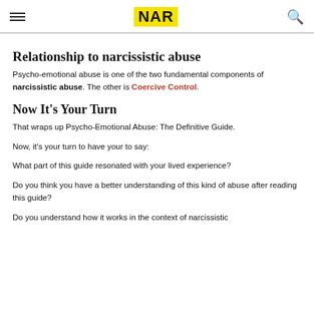NAR
Relationship to narcissistic abuse
Psycho-emotional abuse is one of the two fundamental components of narcissistic abuse. The other is Coercive Control.
Now It's Your Turn
That wraps up Psycho-Emotional Abuse: The Definitive Guide.
Now, it's your turn to have your to say:
What part of this guide resonated with your lived experience?
Do you think you have a better understanding of this kind of abuse after reading this guide?
Do you understand how it works in the context of narcissistic